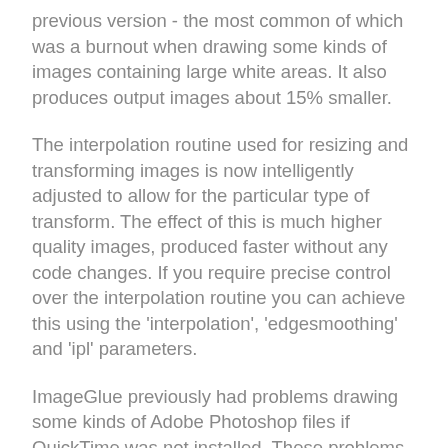previous version - the most common of which was a burnout when drawing some kinds of images containing large white areas. It also produces output images about 15% smaller.
The interpolation routine used for resizing and transforming images is now intelligently adjusted to allow for the particular type of transform. The effect of this is much higher quality images, produced faster without any code changes. If you require precise control over the interpolation routine you can achieve this using the 'interpolation', 'edgesmoothing' and 'ipl' parameters.
ImageGlue previously had problems drawing some kinds of Adobe Photoshop files if QuickTime was not installed. These problems have been resolved.
There are two new registry preferences. EPSFInfo determines if the EPSF information module is used or